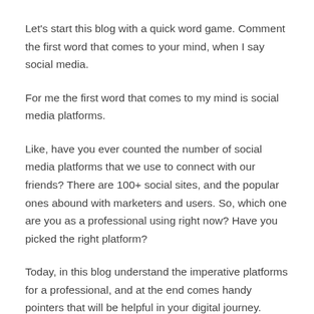Let's start this blog with a quick word game. Comment the first word that comes to your mind, when I say social media.
For me the first word that comes to my mind is social media platforms.
Like, have you ever counted the number of social media platforms that we use to connect with our friends? There are 100+ social sites, and the popular ones abound with marketers and users. So, which one are you as a professional using right now? Have you picked the right platform?
Today, in this blog understand the imperative platforms for a professional, and at the end comes handy pointers that will be helpful in your digital journey.